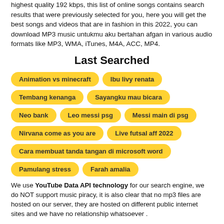highest quality 192 kbps, this list of online songs contains search results that were previously selected for you, here you will get the best songs and videos that are in fashion in this 2022, you can download MP3 music untukmu aku bertahan afgan in various audio formats like MP3, WMA, iTunes, M4A, ACC, MP4.
Last Searched
Animation vs minecraft
Ibu livy renata
Tembang kenanga
Sayangku mau bicara
Neo bank
Leo messi psg
Messi main di psg
Nirvana come as you are
Live futsal aff 2022
Cara membuat tanda tangan di microsoft word
Pamulang stress
Farah amalia
We use YouTube Data API technology for our search engine, we do NOT support music piracy, it is also clear that no mp3 files are hosted on our server, they are hosted on different public internet sites and we have no relationship whatsoever .